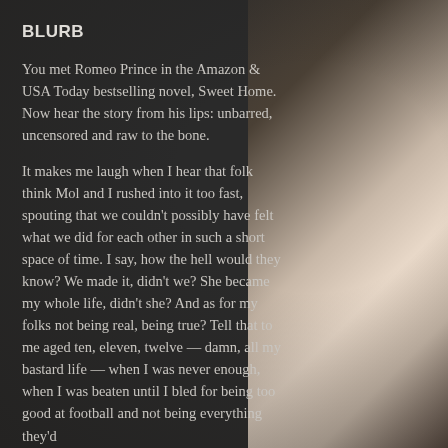[Figure (photo): Dark moody background with a partially visible person's bare shoulder/back on the right side. Dark charcoal textured background on the left where text is overlaid.]
BLURB
You met Romeo Prince in the Amazon & USA Today bestselling novel, Sweet Home. Now hear the story from his lips: unbarred, uncensored and raw to the bone.
It makes me laugh when I hear that folk think Mol and I rushed into it too fast, spouting that we couldn't possibly have felt what we did for each other in such a short space of time. I say, how the hell would they know? We made it, didn't we? She became my whole life, didn't she? And as for my folks not being real, being true? Tell that to me aged ten, eleven, twelve — damn, all my bastard life — when I was never enough, when I was beaten until I bled for being too good at football and not being everything they'd